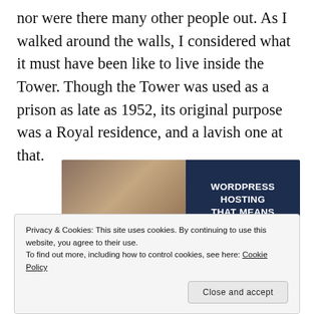nor were there many other people out. As I walked around the walls, I considered what it must have been like to live inside the Tower. Though the Tower was used as a prison as late as 1952, its original purpose was a Royal residence, and a lavish one at that.
[Figure (photo): Advertisement banner for WordPress Hosting. Left half shows a photo of a person holding an OPEN sign. Right half has dark navy background with text: WORDPRESS HOSTING THAT MEANS BUSINESS. with a Learn More button.]
Privacy & Cookies: This site uses cookies. By continuing to use this website, you agree to their use.
To find out more, including how to control cookies, see here: Cookie Policy
Close and accept